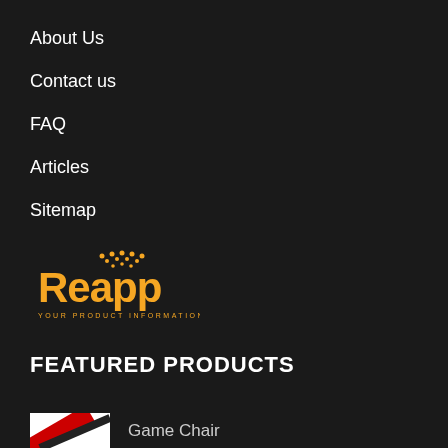About Us
Contact us
FAQ
Articles
Sitemap
[Figure (logo): Reapp logo — orange text 'Reapp' with decorative dot pattern above, tagline 'YOUR PRODUCT INFORMATION PORTAL' below]
FEATURED PRODUCTS
Game Chair